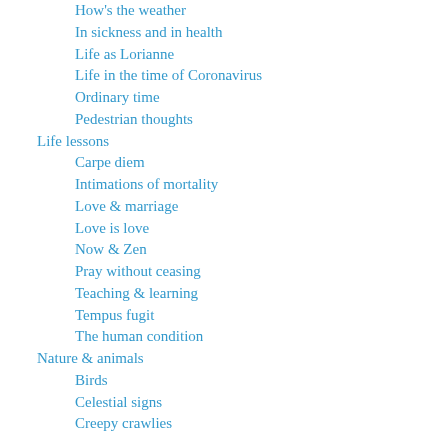How's the weather
In sickness and in health
Life as Lorianne
Life in the time of Coronavirus
Ordinary time
Pedestrian thoughts
Life lessons
Carpe diem
Intimations of mortality
Love & marriage
Love is love
Now & Zen
Pray without ceasing
Teaching & learning
Tempus fugit
The human condition
Nature & animals
Birds
Celestial signs
Creepy crawlies